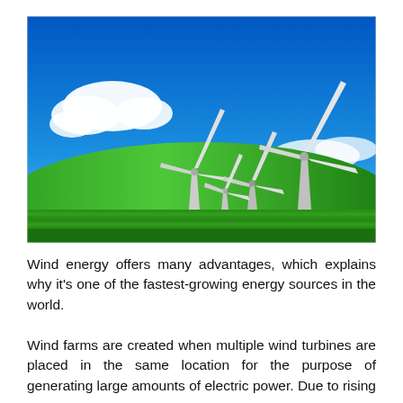[Figure (photo): Photograph of wind turbines on a green grassy field under a bright blue sky with white clouds. Three large wind turbines and one smaller turbine are visible.]
Wind energy offers many advantages, which explains why it's one of the fastest-growing energy sources in the world.
Wind farms are created when multiple wind turbines are placed in the same location for the purpose of generating large amounts of electric power. Due to rising energy